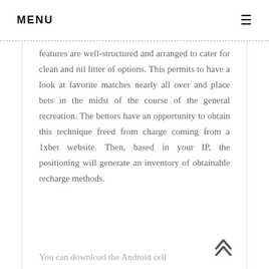MENU ≡
features are well-structured and arranged to cater for clean and nil litter of options. This permits to have a look at favorite matches nearly all over and place bets in the midst of the course of the general recreation. The bettors have an opportunity to obtain this technique freed from charge coming from a 1xbet website. Then, based in your IP, the positioning will generate an inventory of obtainable recharge methods.
You can download the Android cell